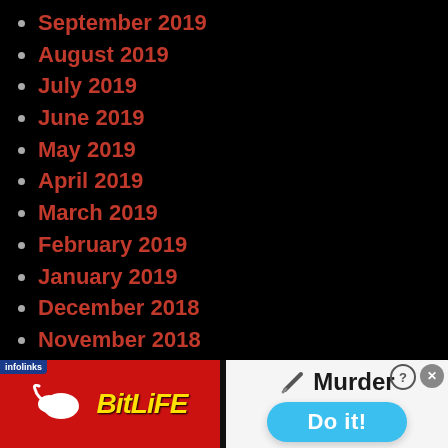September 2019
August 2019
July 2019
June 2019
May 2019
April 2019
March 2019
February 2019
January 2019
December 2018
November 2018
October 2018
September 2018
August 2018
[Figure (screenshot): BitLife advertisement banner with logo on red background on left side and Murder / Do it! call-to-action on right side with knife icon]